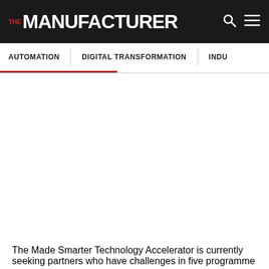THE MANUFACTURER
AUTOMATION | DIGITAL TRANSFORMATION | INDU...
The Made Smarter Technology Accelerator is currently seeking partners who have challenges in five programme